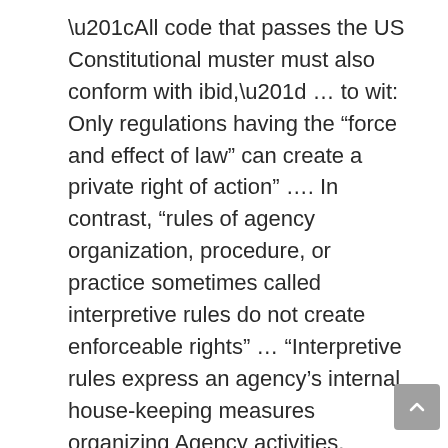“All code that passes the US Constitutional muster must also conform with ibid,” … to wit: Only regulations having the “force and effect of law” can create a private right of action” …. In contrast, “rules of agency organization, procedure, or practice sometimes called interpretive rules do not create enforceable rights” … “Interpretive rules express an agency’s internal house-keeping measures organizing Agency activities. Unless the regulations comply with the 1946 Administrative Procedures Act 60 Stat 236-244 (4& 4(c)); and, today codified in 5 US Code chapters 5-9 and specifically in 5 US Code §553 (d) for informal rule making then the regulation